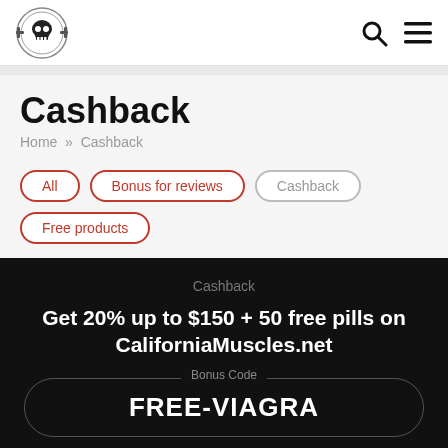[Figure (logo): Bodybuilding website logo with skull graphic inside a circular badge]
Search and Menu icons
Cashback
Home » Cashback
All
Bonus for reviews
Cashback
Free products
Cashback
Get 20% up to $150 + 50 free pills on CaliforniaMuscles.net
Bonus Code FREE-VIAGRA